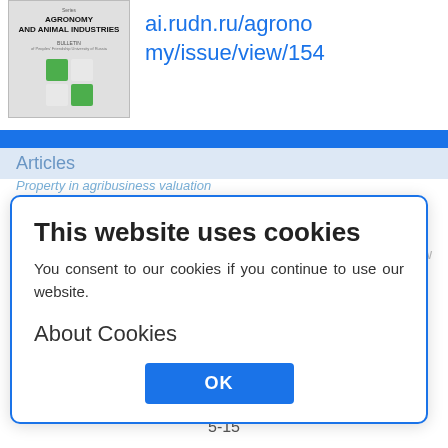[Figure (other): Journal cover thumbnail for RUDN Bulletin series Agronomy and Animal Industries]
ai.rudn.ru/agronomy/issue/view/154
Articles
Property in agribusiness valuation
Popov M.A., Belyaev E.N.
Abstract
specifics of property valuation in agribusiness, shows peculiarities
Show
RUDN Journal of Agronomy and Animal Industries. 2009;(2):5-15
5-15
This website uses cookies
You consent to our cookies if you continue to use our website.
About Cookies
OK